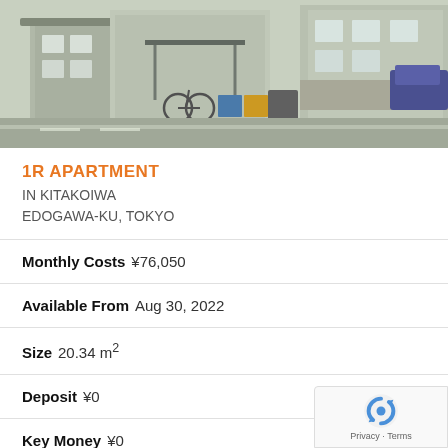[Figure (photo): Street-level photo of a Japanese apartment building exterior with bicycle parking and neighboring buildings]
1R APARTMENT
IN KITAKOIWA
EDOGAWA-KU, TOKYO
Monthly Costs ¥76,050
Available From Aug 30, 2022
Size 20.34 m²
Deposit ¥0
Key Money ¥0
Floor 1 / 3F